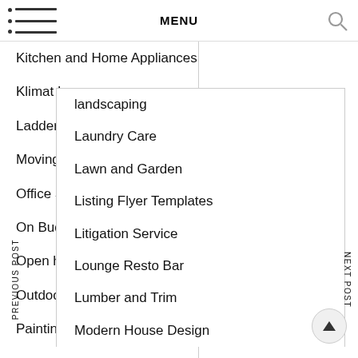MENU
Kitchen and Home Appliances
Klimat Lounge
Ladders
landscaping
Laundry Care
Lawn and Garden
Listing Flyer Templates
Litigation Service
Lounge Resto Bar
Lumber and Trim
Modern House Design
Moving
Office Supplies
On Budget
Open houses
Outdoor
Painting